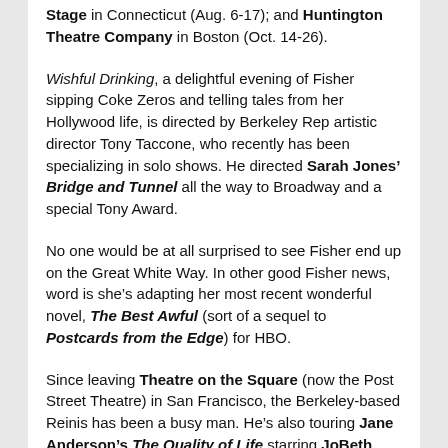Stage in Connecticut (Aug. 6-17); and Huntington Theatre Company in Boston (Oct. 14-26).
Wishful Drinking, a delightful evening of Fisher sipping Coke Zeros and telling tales from her Hollywood life, is directed by Berkeley Rep artistic director Tony Taccone, who recently has been specializing in solo shows. He directed Sarah Jones' Bridge and Tunnel all the way to Broadway and a special Tony Award.
No one would be at all surprised to see Fisher end up on the Great White Way. In other good Fisher news, word is she's adapting her most recent wonderful novel, The Best Awful (sort of a sequel to Postcards from the Edge) for HBO.
Since leaving Theatre on the Square (now the Post Street Theatre) in San Francisco, the Berkeley-based Reinis has been a busy man. He's also touring Jane Anderson's The Quality of Life starring JoBeth Williams and Laurie Metcalf. That tour opens in October at American Conservatory Theater.